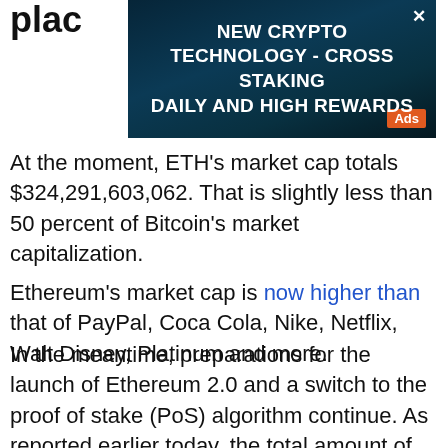plac
[Figure (screenshot): Advertisement banner with dark blue/teal background showing text: NEW CRYPTO TECHNOLOGY - CROSS STAKING DAILY AND HIGH REWARDS, with an orange Ads badge and X close button]
At the moment, ETH's market cap totals $324,291,603,062. That is slightly less than 50 percent of Bitcoin's market capitalization.
Ethereum's market cap is now higher than that of PayPal, Coca Cola, Nike, Netflix, Walt Disney, Platinum and more.
In the meantime, preparations for the launch of Ethereum 2.0 and a switch to the proof of stake (PoS) algorithm continue. As reported earlier today, the total amount of ETH locked in the Ethereum 2.0 deposit contract by validators has reached a new all-time high of over five million Ether (13.7 billion USD).